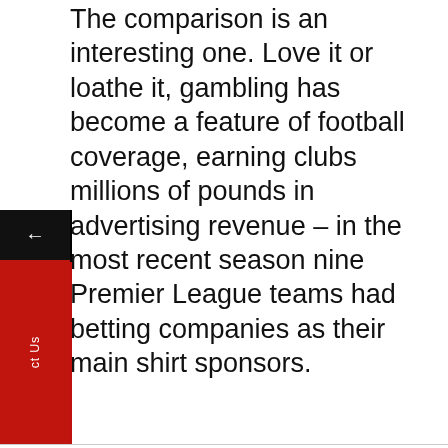The comparison is an interesting one. Love it or loathe it, gambling has become a feature of football coverage, earning clubs millions of pounds in advertising revenue – in the most recent season nine Premier League teams had betting companies as their main shirt sponsors.
This website stores cookies on your computer. These cookies are used to collect information about how you interact with our website and allow us to remember you. We use this information in order to improve and customize your browsing experience and for analytics and metrics about our visitors both on this website and other media. To find out more about the cookies we use, see our Privacy Policy.
We won't track your information when you visit our site. But in order to comply with your preferences, we'll have to use just one tiny cookie so that you're not asked to make this choice again.